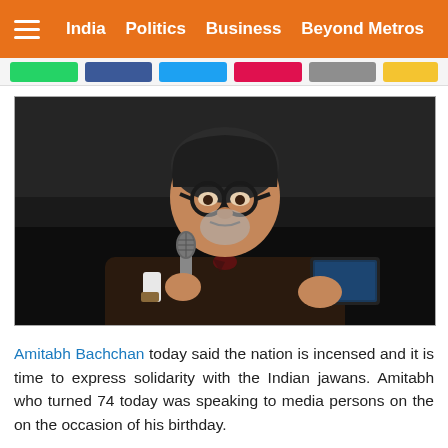India   Politics   Business   Beyond Metros
[Figure (photo): Amitabh Bachchan speaking at an event, holding a microphone and a tablet, wearing a dark suit and thick-rimmed glasses]
Amitabh Bachchan today said the nation is incensed and it is time to express solidarity with the Indian jawans. Amitabh who turned 74 today was speaking to media persons on the on the occasion of his birthday.